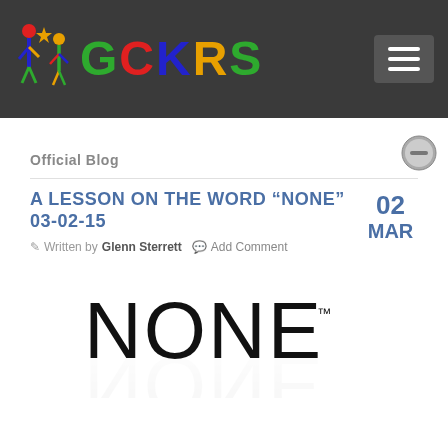GCKRS
Official Blog
A LESSON ON THE WORD “NONE” 03-02-15
Written by Glenn Sterrett   Add Comment   02 MAR
[Figure (logo): The word NONE in large black stylized letters with a trademark symbol and a reflection effect below]